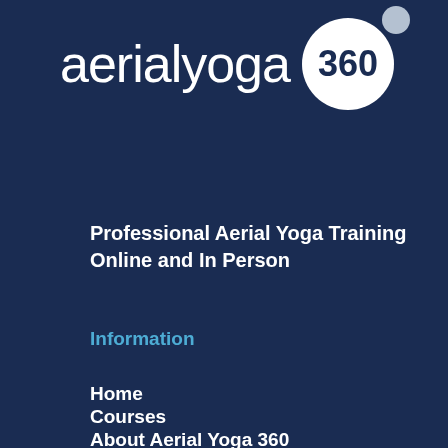[Figure (logo): Aerial Yoga 360 logo with large white text 'aerialyoga' and a white circle badge containing '360' in dark blue, plus a smaller white dot accent]
Professional Aerial Yoga Training Online and In Person
Information
Home
Courses
About Aerial Yoga 360
About Aerial Yoga
Resources
Equipment
Contact